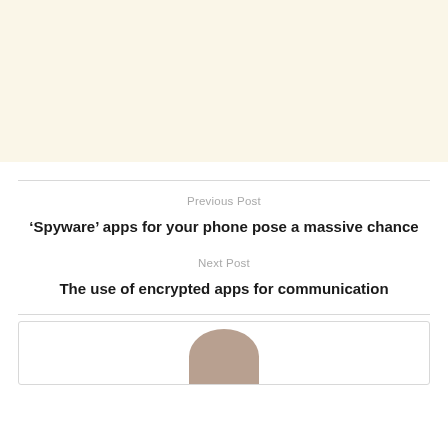[Figure (other): Cream/beige colored background banner area at top of page]
Previous Post
'Spyware' apps for your phone pose a massive chance
Next Post
The use of encrypted apps for communication
[Figure (photo): Partial view of a person's photo in a card/author box at the bottom of the page]